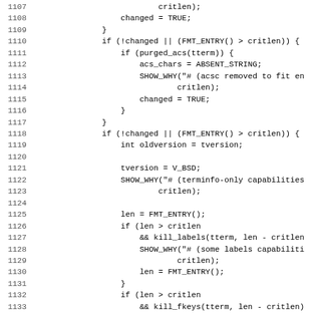[Figure (screenshot): Source code listing in monospace font showing C code lines 1107-1139, with line numbers on the left and code on the right. The code shows conditional logic involving changed, FMT_ENTRY(), critlen, purged_acs, acs_chars, SHOW_WHY, tversion, kill_labels, kill_fkeys, len, and fprintf.]